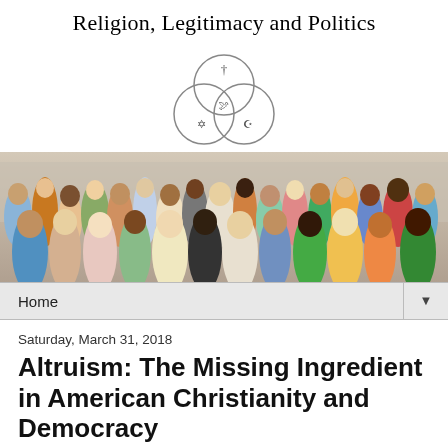Religion, Legitimacy and Politics
[Figure (logo): Three overlapping circles forming a Venn diagram with a cross (†) at top, Star of David (✡) at bottom-left, and crescent/moon (☪) at bottom-right, with a dove in the center intersection.]
[Figure (photo): A large diverse crowd of people standing together, showing people of many ethnicities and backgrounds.]
Home ▼
Saturday, March 31, 2018
Altruism: The Missing Ingredient in American Christianity and Democracy
By Rudy Barnes, Jr.